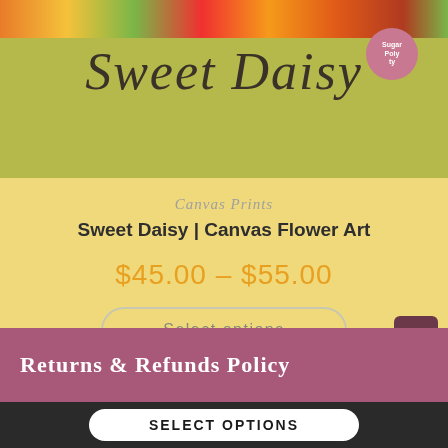[Figure (illustration): Top banner with olive/yellow-green background showing cursive 'Sweet Daisy' text, colorful fruit/vegetable strip at top, and a pink circular badge in the top right corner]
Canvas Prints
Sweet Daisy | Canvas Flower Art
$45.00 – $55.00
Select options
Returns & Refunds Policy
SELECT OPTIONS